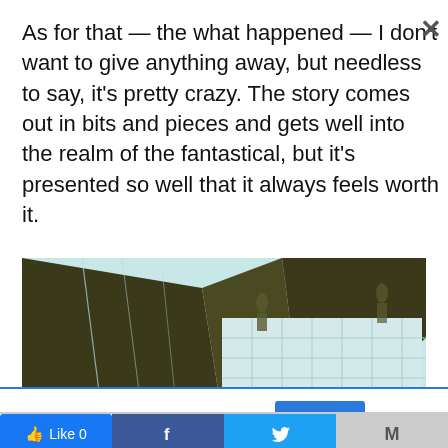As for that — the what happened — I don't want to give anything away, but needless to say, it's pretty crazy. The story comes out in bits and pieces and gets well into the realm of the fantastical, but it's presented so well that it always feels worth it.
[Figure (illustration): Manga/comic-style illustration of an interior scene with architectural elements, flooring tiles, and shadowed figures rendered in dark olive and light blue-green colors.]
This website uses cookies.
Accept
Like 0
[Figure (logo): Facebook logo icon (white f on blue background)]
[Figure (logo): Twitter bird logo (white on blue background)]
M